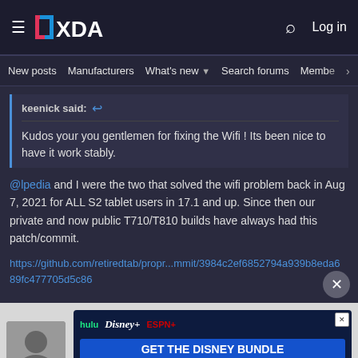XDA Developers — New posts | Manufacturers | What's new | Search forums | Members
keenick said: ↩
Kudos your you gentlemen for fixing the Wifi ! Its been nice to have it work stably.
@lpedia and I were the two that solved the wifi problem back in Aug 7, 2021 for ALL S2 tablet users in 17.1 and up. Since then our private and now public T710/T810 builds have always had this patch/commit.
https://github.com/retiredtab/propr...mmit/3984c2ef6852794a939b8eda689fc477705d5c86
[Figure (infographic): Disney Bundle advertisement banner with Hulu, Disney+, and ESPN+ logos and 'GET THE DISNEY BUNDLE' call to action]